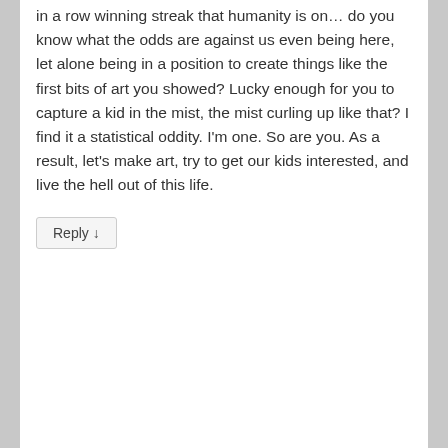in a row winning streak that humanity is on… do you know what the odds are against us even being here, let alone being in a position to create things like the first bits of art you showed? Lucky enough for you to capture a kid in the mist, the mist curling up like that? I find it a statistical oddity. I'm one. So are you. As a result, let's make art, try to get our kids interested, and live the hell out of this life.
Reply ↓
Exile on Pain Street on January 21, 2019 at 5:24 pm said:
The entire review was chock-a-block with this kind of silly artspeak. It's a disservice to the work and creates a distance between the artist and his/her work. Come down off your academic pedestal. It's